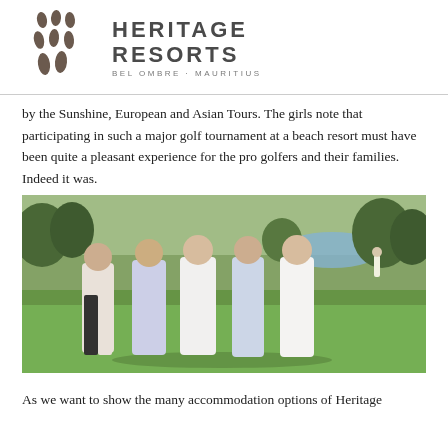[Figure (logo): Heritage Resorts logo with stylized droplet/leaf icons and text 'HERITAGE RESORTS BEL OMBRE · MAURITIUS']
by the Sunshine, European and Asian Tours. The girls note that participating in such a major golf tournament at a beach resort must have been quite a pleasant experience for the pro golfers and their families. Indeed it was.
[Figure (photo): Five young women standing together on a golf course with lush green grass, trees, and a pond visible in the background. A golfer is visible in the far background.]
As we want to show the many accommodation options of Heritage